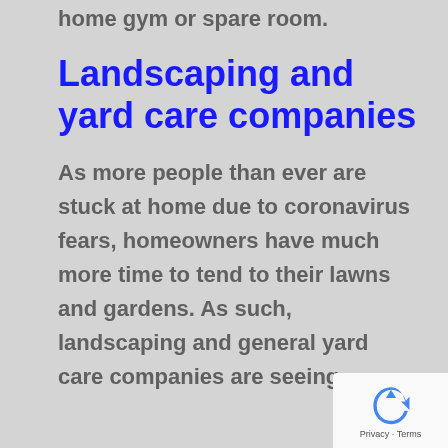home gym or spare room.
Landscaping and yard care companies
As more people than ever are stuck at home due to coronavirus fears, homeowners have much more time to tend to their lawns and gardens. As such, landscaping and general yard care companies are seeing